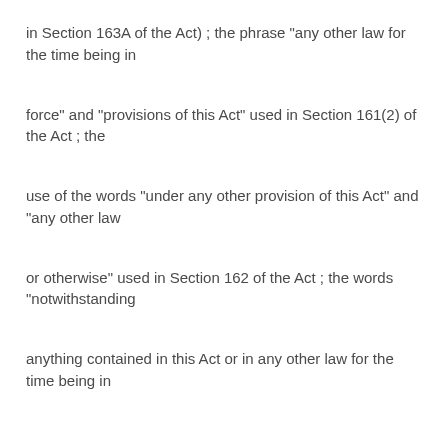in Section 163A of the Act) ; the phrase "any other law for the time being in
force" and "provisions of this Act" used in Section 161(2) of the Act ; the
use of the words "under any other provision of this Act" and "any other law
or otherwise" used in Section 162 of the Act ; the words "notwithstanding
anything contained in this Act or in any other law for the time being in